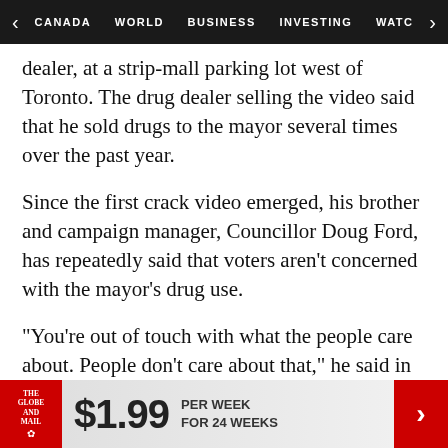CANADA  WORLD  BUSINESS  INVESTING  WATC
dealer, at a strip-mall parking lot west of Toronto. The drug dealer selling the video said that he sold drugs to the mayor several times over the past year.
Since the first crack video emerged, his brother and campaign manager, Councillor Doug Ford, has repeatedly said that voters aren't concerned with the mayor's drug use.
"You're out of touch with what the people care about. People don't care about that," he said in January.
With reports from Ann Hui, Renata D'Aliesio, Elizabeth Church and Patrick White
[Figure (infographic): The Globe and Mail subscription ad banner: logo on red background, $1.99 per week for 24 weeks, red arrow button]